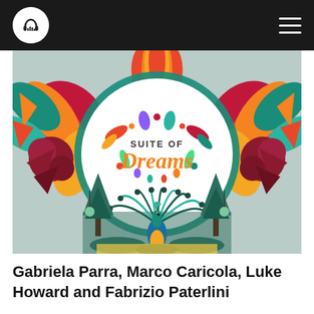Music streaming app header with headphone logo and hamburger menu
[Figure (illustration): Album cover art for 'Suite of Dreams' — colorful flat illustration with floral motifs, a peacock in the center bottom, tropical trees, and the text 'SUITE OF Dreams' inside a white circle on a vibrant orange, red, teal, green background]
Gabriela Parra, Marco Caricola, Luke Howard and Fabrizio Paterlini